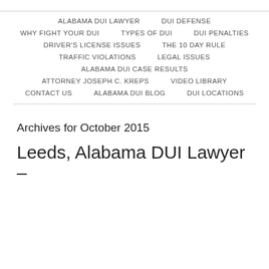ALABAMA DUI LAWYER   DUI DEFENSE   WHY FIGHT YOUR DUI   TYPES OF DUI   DUI PENALTIES   DRIVER'S LICENSE ISSUES   THE 10 DAY RULE   TRAFFIC VIOLATIONS   LEGAL ISSUES   ALABAMA DUI CASE RESULTS   ATTORNEY JOSEPH C. KREPS   VIDEO LIBRARY   CONTACT US   ALABAMA DUI BLOG   DUI LOCATIONS
Archives for October 2015
Leeds, Alabama DUI Lawyer –